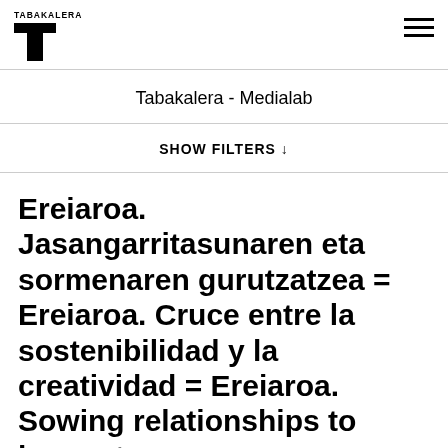TABAKALERA [logo]
Tabakalera - Medialab
SHOW FILTERS ↓
Ereiaroa. Jasangarritasunaren eta sormenaren gurutzatzea = Ereiaroa. Cruce entre la sostenibilidad y la creatividad = Ereiaroa. Sowing relationships to harvest